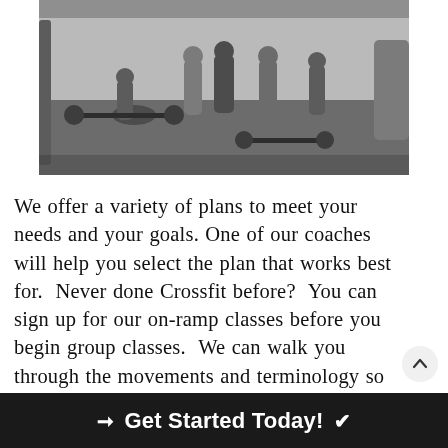[Figure (photo): Black and white photo of people in a CrossFit gym doing weightlifting with barbells on the floor, multiple athletes visible]
We offer a variety of plans to meet your needs and your goals. One of our coaches will help you select the plan that works best for.  Never done Crossfit before?  You can sign up for our on-ramp classes before you begin group classes.  We can walk you through the movements and terminology so you can hit the
➜  Get Started Today!  ✔